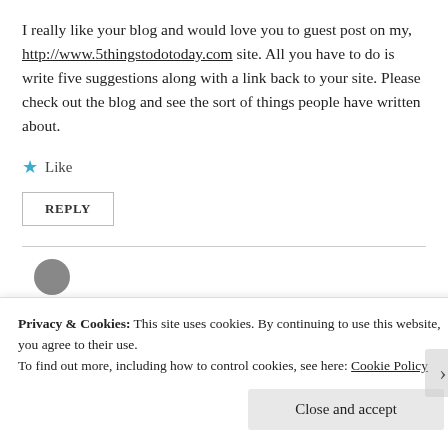I really like your blog and would love you to guest post on my, http://www.5thingstodotoday.com site. All you have to do is write five suggestions along with a link back to your site. Please check out the blog and see the sort of things people have written about.
★ Like
REPLY
Privacy & Cookies: This site uses cookies. By continuing to use this website, you agree to their use.
To find out more, including how to control cookies, see here: Cookie Policy
Close and accept